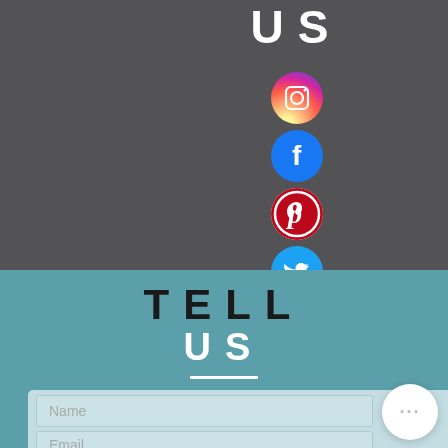US
[Figure (illustration): Social media icons displayed vertically: Instagram, Facebook, Pinterest, Twitter]
TELL US
[Figure (infographic): Contact form with Name and Email input fields, and a circular more-options button with three dots]